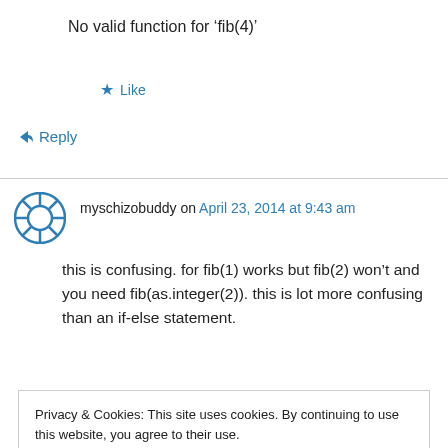No valid function for 'fib(4)'
★ Like
↳ Reply
myschizobuddy on April 23, 2014 at 9:43 am
this is confusing. for fib(1) works but fib(2) won't and you need fib(as.integer(2)). this is lot more confusing than an if-else statement.
★ Like
Privacy & Cookies: This site uses cookies. By continuing to use this website, you agree to their use.
To find out more, including how to control cookies, see here: Cookie Policy
Close and accept